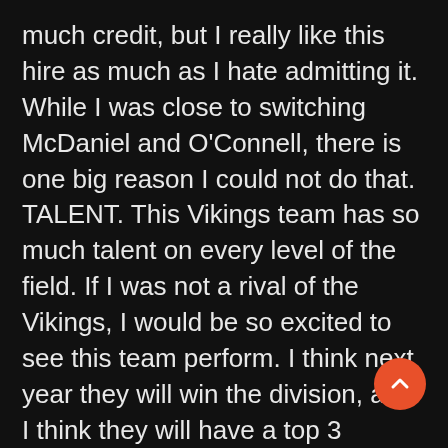much credit, but I really like this hire as much as I hate admitting it. While I was close to switching McDaniel and O'Connell, there is one big reason I could not do that. TALENT. This Vikings team has so much talent on every level of the field. If I was not a rival of the Vikings, I would be so excited to see this team perform. I think next year they will win the division, and I think they will have a top 3 offense in all of football. I think that he was the better hire over Harbaugh in the long term, and it was by far the right hire. This was without a doubt the best situation for a co going into the offseason, and they got a great